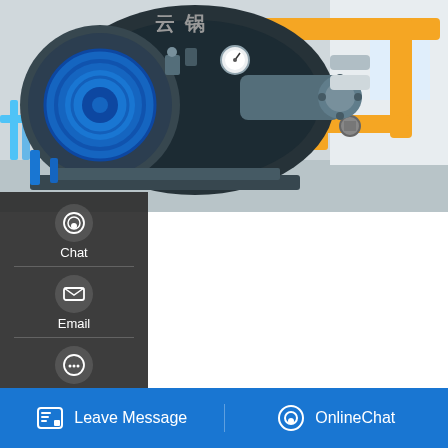[Figure (photo): Industrial boiler room with large dark blue cylindrical boiler and yellow gas pipes]
Agent 10t Biomass Fired Boiler Plant Latvia
ese Fired Boiler Plant Agent Lithuania. Agent 10t Natural Gas Atmospheric Pressure Boiler Lithuania. latvia city gas fired boiler agent cost. Hot Water In Latv confort biomass latvia - WHGLA Latvia City Fired Cost A biomass 105 bar steam 100 % or reusing to generate this steam: and